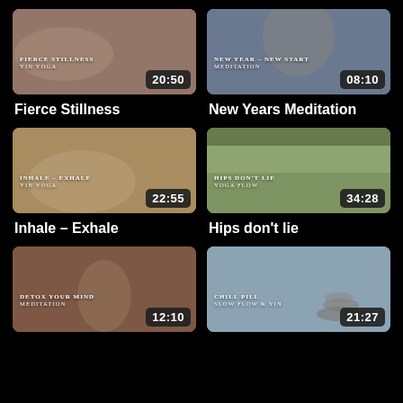[Figure (screenshot): Video thumbnail for Fierce Stillness Yin Yoga, duration 20:50]
Fierce Stillness
[Figure (screenshot): Video thumbnail for New Year - New Start Meditation, duration 08:10]
New Years Meditation
[Figure (screenshot): Video thumbnail for Inhale - Exhale Yin Yoga, duration 22:55]
Inhale – Exhale
[Figure (screenshot): Video thumbnail for Hips Don't Lie Yoga Flow, duration 34:28]
Hips don't lie
[Figure (screenshot): Video thumbnail for Detox Your Mind Meditation, duration 12:10]
[Figure (screenshot): Video thumbnail for Stay Chill - Chill Pill Slow Flow & Yin, duration 21:27]